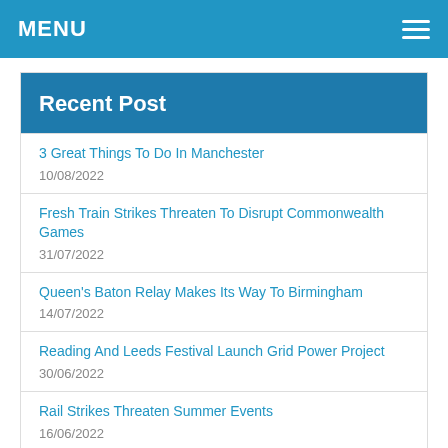MENU
Recent Post
3 Great Things To Do In Manchester
10/08/2022
Fresh Train Strikes Threaten To Disrupt Commonwealth Games
31/07/2022
Queen's Baton Relay Makes Its Way To Birmingham
14/07/2022
Reading And Leeds Festival Launch Grid Power Project
30/06/2022
Rail Strikes Threaten Summer Events
16/06/2022